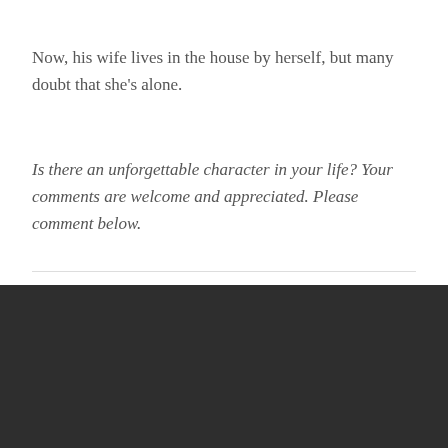Now, his wife lives in the house by herself, but many doubt that she's alone.
Is there an unforgettable character in your life? Your comments are welcome and appreciated. Please comment below.
PROUDLY POWERED BY WORDPRESS | THEME: HEMINGWAY REWRITTEN BY ANDERS NORÉN.